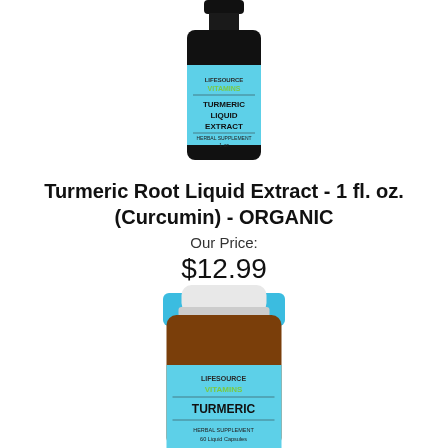[Figure (photo): Dark glass bottle with light blue label reading 'LIFESOURCE VITAMINS - TURMERIC LIQUID EXTRACT - HERBAL SUPPLEMENT 1 oz']
Turmeric Root Liquid Extract - 1 fl. oz. (Curcumin) - ORGANIC
Our Price:
$12.99
Add To Cart
[Figure (photo): Amber bottle with white cap and light blue label reading 'LIFESOURCE VITAMINS - TURMERIC - HERBAL SUPPLEMENT 60 Liquid Capsules']